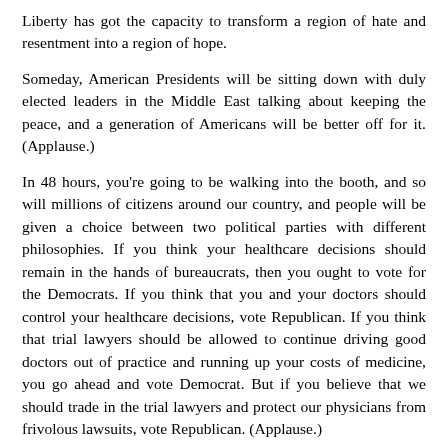Liberty has got the capacity to transform a region of hate and resentment into a region of hope.
Someday, American Presidents will be sitting down with duly elected leaders in the Middle East talking about keeping the peace, and a generation of Americans will be better off for it. (Applause.)
In 48 hours, you're going to be walking into the booth, and so will millions of citizens around our country, and people will be given a choice between two political parties with different philosophies. If you think your healthcare decisions should remain in the hands of bureaucrats, then you ought to vote for the Democrats. If you think that you and your doctors should control your healthcare decisions, vote Republican. If you think that trial lawyers should be allowed to continue driving good doctors out of practice and running up your costs of medicine, you go ahead and vote Democrat. But if you believe that we should trade in the trial lawyers and protect our physicians from frivolous lawsuits, vote Republican. (Applause.)
You think activist judges should be allowed to redefine our country and issue new laws from the bench, you go vote Democrat. If you believe the role of the judge is to strictly interpret our Constitution and laws and leave legislating to legislators, vote Republican. (Applause.)
If you think Medicare are serving our seniors just fine and didn't